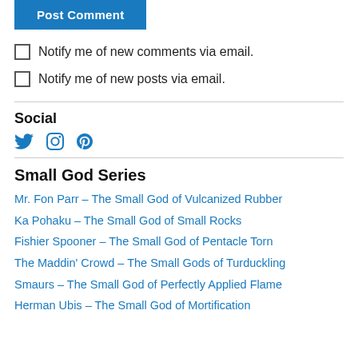Post Comment
Notify me of new comments via email.
Notify me of new posts via email.
Social
[Figure (infographic): Social media icons: Twitter bird, Instagram camera, Pinterest P]
Small God Series
Mr. Fon Parr – The Small God of Vulcanized Rubber
Ka Pohaku – The Small God of Small Rocks
Fishier Spooner – The Small God of Pentacle Torn
The Maddin' Crowd – The Small Gods of Turduckling
Smaurs – The Small God of Perfectly Applied Flame
Herman Ubis – The Small God of Mortification